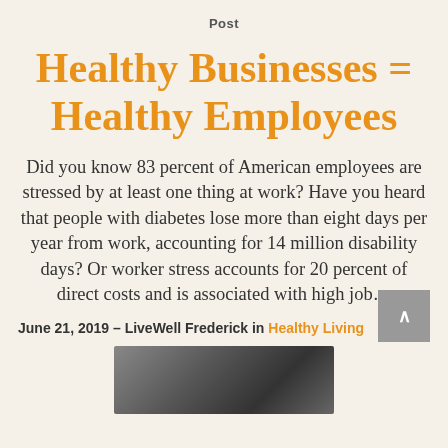Post
Healthy Businesses = Healthy Employees
Did you know 83 percent of American employees are stressed by at least one thing at work? Have you heard that people with diabetes lose more than eight days per year from work, accounting for 14 million disability days? Or worker stress accounts for 20 percent of direct costs and is associated with high job…
June 21, 2019 – LiveWell Frederick in Healthy Living
[Figure (photo): Partial photo image at bottom of page]